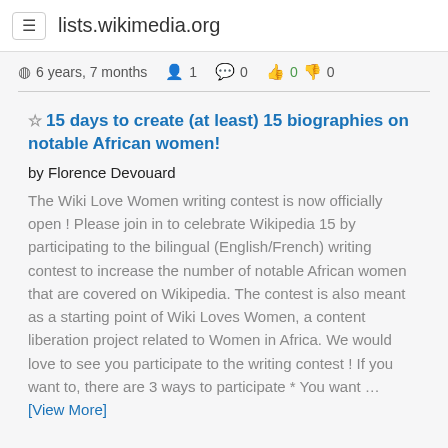lists.wikimedia.org
6 years, 7 months   1   0   0  0
15 days to create (at least) 15 biographies on notable African women!
by Florence Devouard
The Wiki Love Women writing contest is now officially open ! Please join in to celebrate Wikipedia 15 by participating to the bilingual (English/French) writing contest to increase the number of notable African women that are covered on Wikipedia. The contest is also meant as a starting point of Wiki Loves Women, a content liberation project related to Women in Africa. We would love to see you participate to the writing contest ! If you want to, there are 3 ways to participate * You want … [View More]